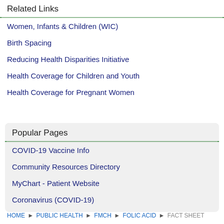Related Links
Women, Infants & Children (WIC)
Birth Spacing
Reducing Health Disparities Initiative
Health Coverage for Children and Youth
Health Coverage for Pregnant Women
Popular Pages
COVID-19 Vaccine Info
Community Resources Directory
MyChart - Patient Website
Coronavirus (COVID-19)
HOME ▸ PUBLIC HEALTH ▸ FMCH ▸ FOLIC ACID ▸ FACT SHEET